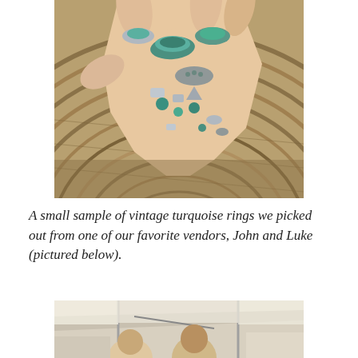[Figure (photo): A hand wearing multiple turquoise and silver rings held over a woven basket with concentric circular pattern. Various turquoise stone rings and silver jewelry pieces visible.]
A small sample of vintage turquoise rings we picked out from one of our favorite vendors, John and Luke (pictured below).
[Figure (photo): Two people standing under a tent or canopy at what appears to be an outdoor market or vendor booth.]